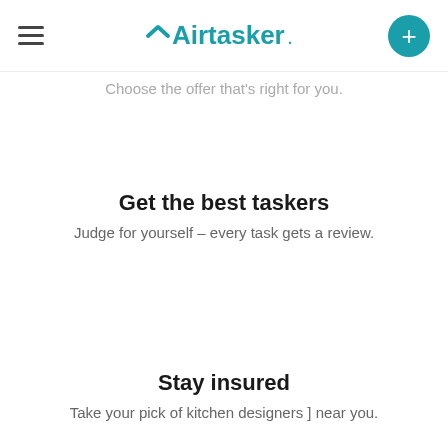Airtasker (navigation bar with hamburger menu and + button)
Choose the offer that's right for you.
Get the best taskers
Judge for yourself – every task gets a review.
Stay insured
Take your pick of kitchen designers ] near you.